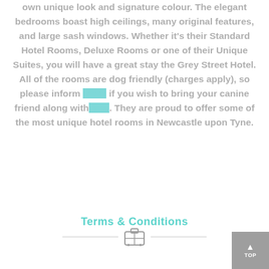own unique look and signature colour. The elegant bedrooms boast high ceilings, many original features, and large sash windows. Whether it's their Standard Hotel Rooms, Deluxe Rooms or one of their Unique Suites, you will have a great stay the Grey Street Hotel. All of the rooms are dog friendly (charges apply), so please inform them if you wish to bring your canine friend along with you. They are proud to offer some of the most unique hotel rooms in Newcastle upon Tyne.
Terms & Conditions
[Figure (illustration): A suitcase icon with horizontal divider lines on either side]